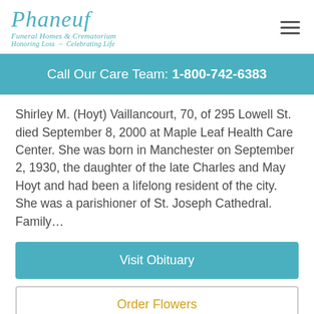[Figure (logo): Phaneuf Funeral Homes & Crematorium logo with tagline 'Honoring Loss ~ Celebrating Life' in teal italic script]
Call Our Care Team: 1-800-742-6383
Shirley M. (Hoyt) Vaillancourt, 70, of 295 Lowell St. died September 8, 2000 at Maple Leaf Health Care Center. She was born in Manchester on September 2, 1930, the daughter of the late Charles and May Hoyt and had been a lifelong resident of the city. She was a parishioner of St. Joseph Cathedral. Family…
Visit Obituary
Order Flowers